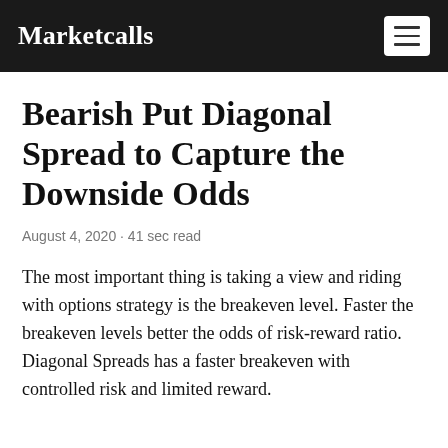Marketcalls
Bearish Put Diagonal Spread to Capture the Downside Odds
August 4, 2020 · 41 sec read
The most important thing is taking a view and riding with options strategy is the breakeven level. Faster the breakeven levels better the odds of risk-reward ratio. Diagonal Spreads has a faster breakeven with controlled risk and limited reward.